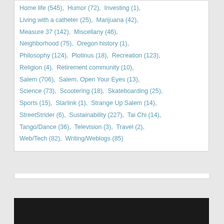Home life (545),  Humor (72),  Investing (1),
Living with a catheter (25),  Marijuana (42),
Measure 37 (142),  Miscellany (46),
Neighborhood (75),  Oregon history (1),
Philosophy (124),  Plotinus (18),  Recreation (123),
Religion (4),  Retirement community (10),
Salem (706),  Salem, Open Your Eyes (13),
Science (73),  Scootering (18),  Skateboarding (25),
Sports (15),  Starlink (1),  Strange Up Salem (14),
StreetStrider (6),  Sustainability (227),  Tai Chi (14),
Tango/Dance (36),  Television (3),  Travel (2),
Web/Tech (82),  Writing/Weblogs (85)